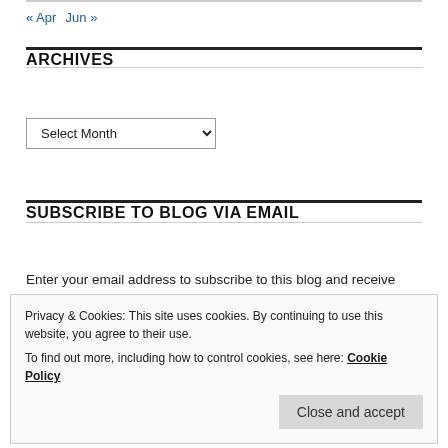« Apr   Jun »
ARCHIVES
[Figure (other): Select Month dropdown widget]
SUBSCRIBE TO BLOG VIA EMAIL
Enter your email address to subscribe to this blog and receive notifications of new posts by email.
Privacy & Cookies: This site uses cookies. By continuing to use this website, you agree to their use. To find out more, including how to control cookies, see here: Cookie Policy